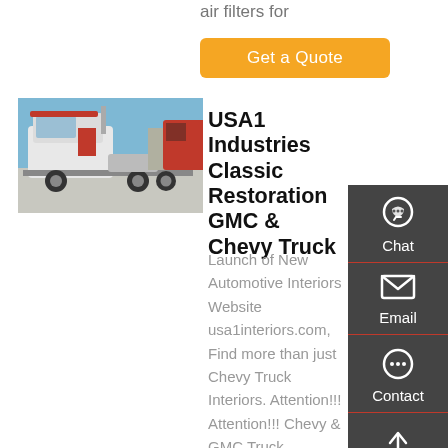air filters for
Get a Quote
[Figure (photo): White semi-truck / cab-over truck with red accents parked outdoors under a blue sky]
USA1 Industries Classic Restoration GMC & Chevy Truck
Launch of New Automotive Interiors Website usa1interiors.com, Find more than just Chevy Truck Interiors. Attention!!! Attention!!! Chevy & GMC Truck Owners, USA1 Industries is a different Chevy Truck Parts Supplier. Our staff loves Chevy & GMC Trucks, they